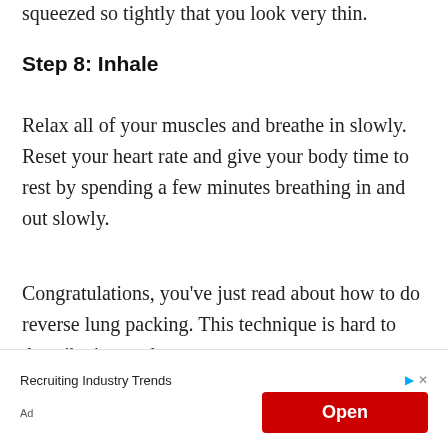squeezed so tightly that you look very thin.
Step 8: Inhale
Relax all of your muscles and breathe in slowly. Reset your heart rate and give your body time to rest by spending a few minutes breathing in and out slowly.
Congratulations, you’ve just read about how to do reverse lung packing. This technique is hard to describe in words, so
[Figure (other): Advertisement banner with text 'Recruiting Industry Trends', an 'Open' button in red, play icon, close icon, and 'Ad' label]